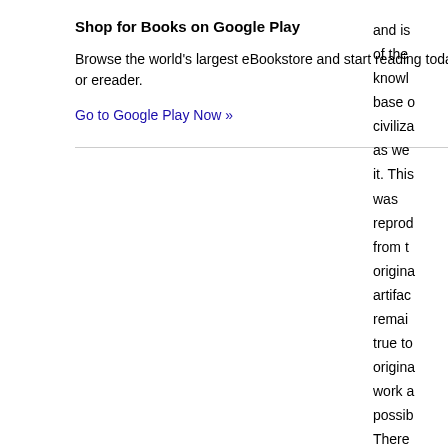Shop for Books on Google Play
Browse the world's largest eBookstore and start reading today on the web, tablet, phone, or ereader.
Go to Google Play Now »
and is of the knowl base o civiliza as we it. This was repro from t origin artifac remai true to origin work a possib There you w the or copyr refere library